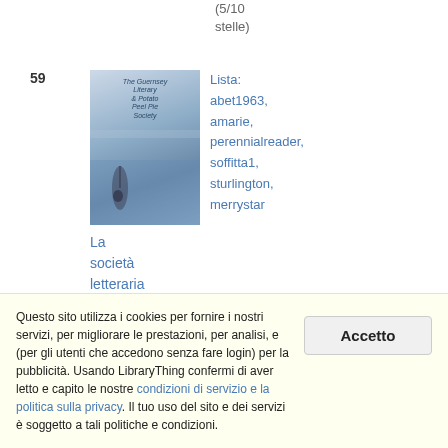(5/10 stelle)
59
[Figure (photo): Book cover of The Guernsey Literary and Potato Peel Pie Society]
Lista: abet1963, amarie, perennialreader, soffitta1, sturlington, merrystar
La società letteraria di Guernsey di Mary Ann Shaffer
Questo sito utilizza i cookies per fornire i nostri servizi, per migliorare le prestazioni, per analisi, e (per gli utenti che accedono senza fare login) per la pubblicità. Usando LibraryThing confermi di aver letto e capito le nostre condizioni di servizio e la politica sulla privacy. Il tuo uso del sito e dei servizi è soggetto a tali politiche e condizioni.
Accetto